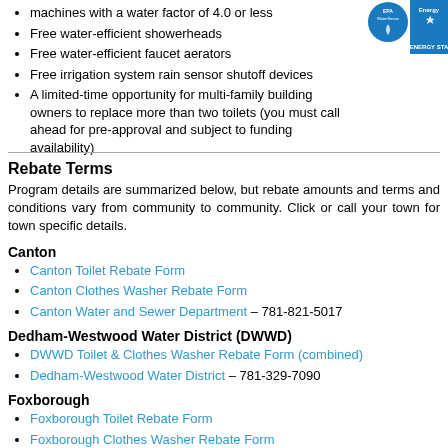machines with a water factor of 4.0 or less
Free water-efficient showerheads
Free water-efficient faucet aerators
Free irrigation system rain sensor shutoff devices
A limited-time opportunity for multi-family building owners to replace more than two toilets (you must call ahead for pre-approval and subject to funding availability)
[Figure (logo): EPA WaterSense and Energy Star logos in blue and white]
Rebate Terms
Program details are summarized below, but rebate amounts and terms and conditions vary from community to community. Click or call your town for town specific details.
Canton
Canton Toilet Rebate Form
Canton Clothes Washer Rebate Form
Canton Water and Sewer Department – 781-821-5017
Dedham-Westwood Water District (DWWD)
DWWD Toilet & Clothes Washer Rebate Form (combined)
Dedham-Westwood Water District – 781-329-7090
Foxborough
Foxborough Toilet Rebate Form
Foxborough Clothes Washer Rebate Form
Foxborough Water Department – 508-543-1209
Sharon